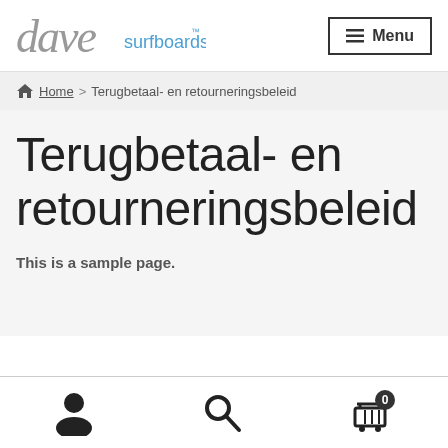dave surfboards™ Menu
Home > Terugbetaal- en retourneringsbeleid
Terugbetaal- en retourneringsbeleid
This is a sample page.
user icon | search icon | cart icon (0)